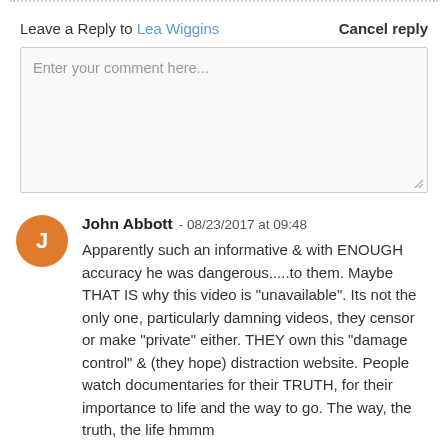Leave a Reply to Lea Wiggins   Cancel reply
Enter your comment here...
John Abbott - 08/23/2017 at 09:48
Apparently such an informative & with ENOUGH accuracy he was dangerous.....to them. Maybe THAT IS why this video is "unavailable". Its not the only one, particularly damning videos, they censor or make "private" either. THEY own this "damage control" & (they hope) distraction website. People watch documentaries for their TRUTH, for their importance to life and the way to go. The way, the truth, the life hmmm
Reply